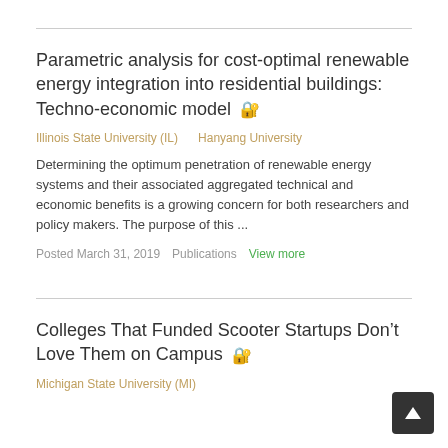Parametric analysis for cost-optimal renewable energy integration into residential buildings: Techno-economic model 🔒
Illinois State University (IL)    Hanyang University
Determining the optimum penetration of renewable energy systems and their associated aggregated technical and economic benefits is a growing concern for both researchers and policy makers. The purpose of this ...
Posted March 31, 2019   Publications   View more
Colleges That Funded Scooter Startups Don't Love Them on Campus 🔒
Michigan State University (MI)